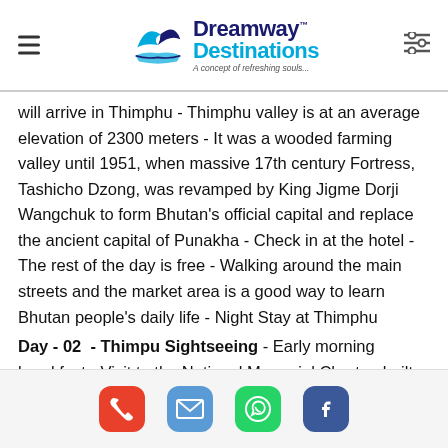Dreamway™ Destinations — A concept of refreshing souls...
will arrive in Thimphu - Thimphu valley is at an average elevation of 2300 meters - It was a wooded farming valley until 1951, when massive 17th century Fortress, Tashicho Dzong, was revamped by King Jigme Dorji Wangchuk to form Bhutan's official capital and replace the ancient capital of Punakha - Check in at the hotel - The rest of the day is free - Walking around the main streets and the market area is a good way to learn Bhutan people's daily life - Night Stay at Thimphu
Day - 02  - Thimpu Sightseeing - Early morning breakfast - Visit to the National Memorial Chorten built in honour of our late King Jigme Dorji Wangchuk and the Dupthop Lhakhang – One can visit the National Library, stocked with ancient Buddhist manuscripts, and the Painting School where traditional art is still kept alive through instructions in the art of painting Thangkas -  After lunch
Phone | Email | WhatsApp | Facebook